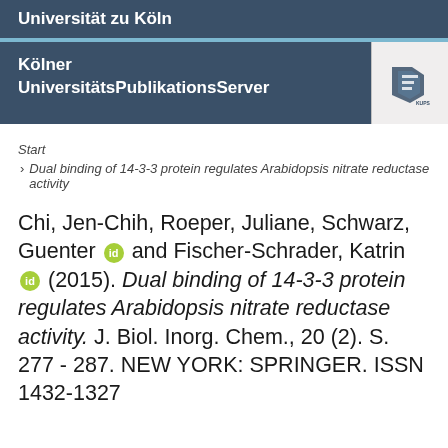Universität zu Köln
Kölner UniversitätsPublikationsServer
Start
› Dual binding of 14-3-3 protein regulates Arabidopsis nitrate reductase activity
Chi, Jen-Chih, Roeper, Juliane, Schwarz, Guenter [orcid] and Fischer-Schrader, Katrin [orcid] (2015). Dual binding of 14-3-3 protein regulates Arabidopsis nitrate reductase activity. J. Biol. Inorg. Chem., 20 (2). S. 277 - 287. NEW YORK: SPRINGER. ISSN 1432-1327